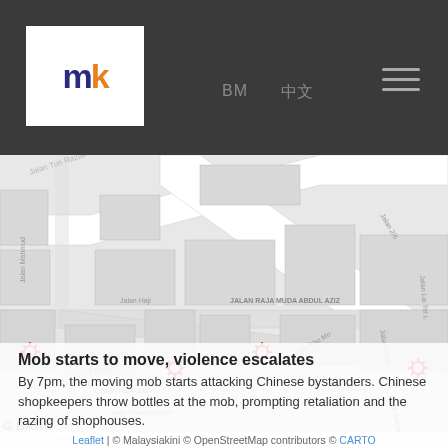[Figure (logo): Malaysiakini (mk) logo in white box on dark header background]
BM  中文  ☰
[Figure (map): OpenStreetMap showing Kuala Lumpur street area with red burst/sun markers indicating mob attack locations and two blue dot markers. Streets visible include Jalan Dato Abu Bakar, Jalan Raja Muda, Jalan Haji, Jalan Raja Mahmud, Jalan Raja Uda, Jalan 2/6, Jalan Lai Tet Lama, 'G BARU' area.]
Mob starts to move, violence escalates
By 7pm, the moving mob starts attacking Chinese bystanders. Chinese shopkeepers throw bottles at the mob, prompting retaliation and the razing of shophouses.
Leaflet | © Malaysiakini © OpenStreetMap contributors © CARTO